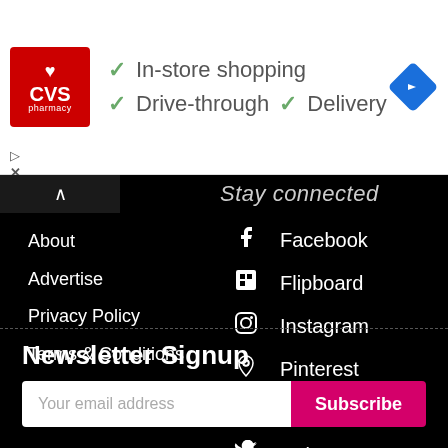[Figure (screenshot): CVS Pharmacy advertisement banner with logo, checkmarks for In-store shopping, Drive-through, and Delivery, and a navigation icon]
Stay connected
About
Advertise
Privacy Policy
Terms & Conditions
Contact
Facebook
Flipboard
Instagram
Pinterest
RSS
Twitter
Newsletter Signup
Your email address
Subscribe